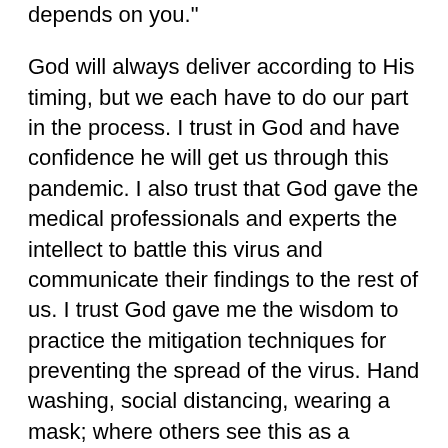depends on you."
God will always deliver according to His timing, but we each have to do our part in the process. I trust in God and have confidence he will get us through this pandemic. I also trust that God gave the medical professionals and experts the intellect to battle this virus and communicate their findings to the rest of us. I trust God gave me the wisdom to practice the mitigation techniques for preventing the spread of the virus. Hand washing, social distancing, wearing a mask; where others see this as a burden or an imposition, I choose to see it as my way of loving my neighbor.
It’s become mentally fatiguing to read about individuals scoffing at the notion of being